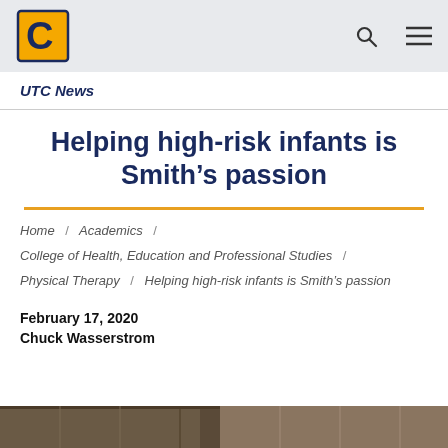UTC News
Helping high-risk infants is Smith’s passion
Home / Academics / College of Health, Education and Professional Studies / Physical Therapy / Helping high-risk infants is Smith’s passion
February 17, 2020
Chuck Wasserstrom
[Figure (photo): Partial photo strip visible at bottom of page]